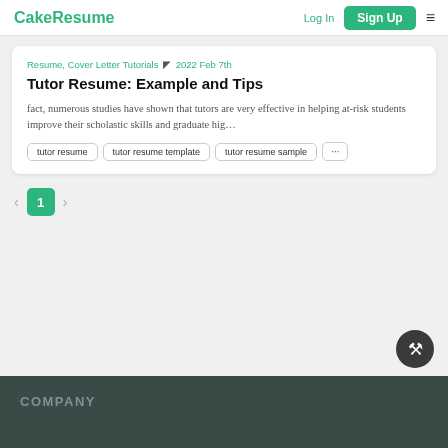CakeResume  Log In  Sign Up
Resume, Cover Letter Tutorials · 2022 Feb 7th
Tutor Resume: Example and Tips
fact, numerous studies have shown that tutors are very effective in helping at-risk students improve their scholastic skills and graduate hig…
tutor resume
tutor resume template
tutor resume sample
...
1
COMPANY